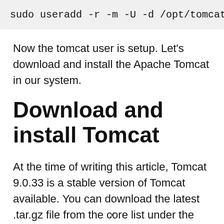[Figure (screenshot): Code block showing: sudo useradd -r -m -U -d /opt/tomcat -s /bin (truncated)]
Now the tomcat user is setup. Let's download and install the Apache Tomcat in our system.
Download and install Tomcat
At the time of writing this article, Tomcat 9.0.33 is a stable version of Tomcat available. You can download the latest .tar.gz file from the core list under the binary
x